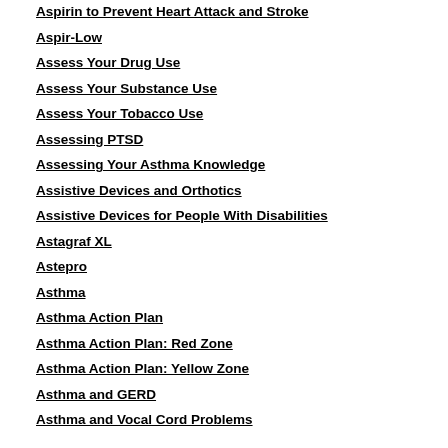Aspirin to Prevent Heart Attack and Stroke
Aspir-Low
Assess Your Drug Use
Assess Your Substance Use
Assess Your Tobacco Use
Assessing PTSD
Assessing Your Asthma Knowledge
Assistive Devices and Orthotics
Assistive Devices for People With Disabilities
Astagraf XL
Astepro
Asthma
Asthma Action Plan
Asthma Action Plan: Red Zone
Asthma Action Plan: Yellow Zone
Asthma and GERD
Asthma and Vocal Cord Problems